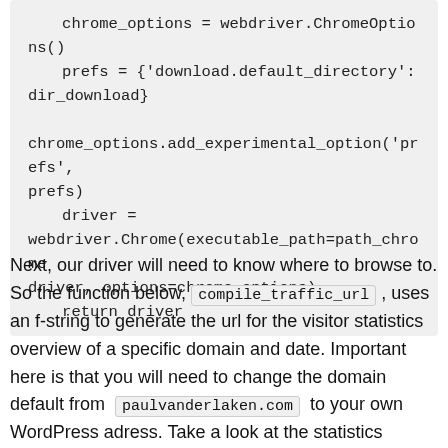chrome_options = webdriver.ChromeOptions()
    prefs = {'download.default_directory': dir_download}

chrome_options.add_experimental_option('prefs', prefs)
    driver = webdriver.Chrome(executable_path=path_chromedriver, options=chrome_options)
    return driver
Next, our driver will need to know where to browse to. So the function below, compile_traffic_url , uses an f-string to generate the url for the visitor statistics overview of a specific domain and date. Important here is that you will need to change the domain default from paulvanderlaken.com to your own WordPress adress. Take a look at the statistics